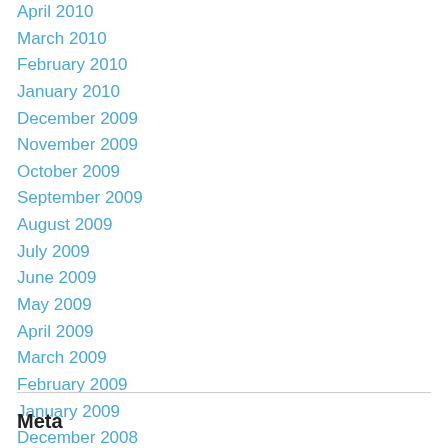April 2010
March 2010
February 2010
January 2010
December 2009
November 2009
October 2009
September 2009
August 2009
July 2009
June 2009
May 2009
April 2009
March 2009
February 2009
January 2009
December 2008
Meta